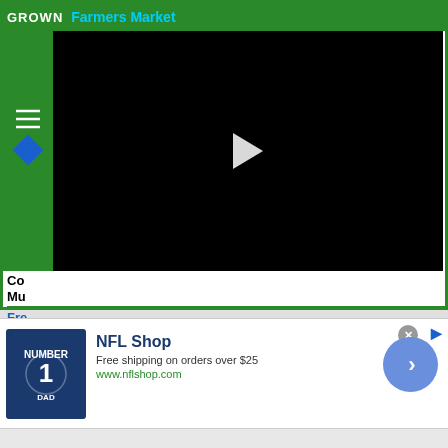[Figure (screenshot): Farmers Market webpage banner with green border, showing a black video player area with a play button in the center, a green left sidebar with logo, and text about produce including cheeses, herbs, raw milk, maple syrup, seafood, mushrooms, flowers, breads, pies, and more!]
cheeses, herbs, raw milk, maple syrup, seafood, mushrooms, flowers, breads, pies, and more!
[Figure (screenshot): NFL Shop advertisement banner. Shows NFL jersey image on left, text 'NFL Shop', 'Free shipping on orders over $25', 'www.nflshop.com', circular blue arrow button on right. Close button (x) in top right corner.]